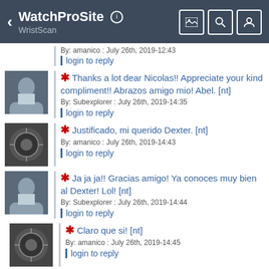WatchProSite / WristScan
By: amanico : July 26th, 2019-12:43
login to reply
* Thanks a lot dear Nicolas!! Appreciate your kind compliment!! Abrazos amigo mio! Abel. [nt]
By: Subexplorer : July 26th, 2019-14:35
login to reply
* Justificado, mi querido Dexter. [nt]
By: amanico : July 26th, 2019-14:43
login to reply
* Ja ja ja!! Gracias amigo! Ya conoces muy bien al Dexter! Lol! [nt]
By: Subexplorer : July 26th, 2019-14:44
login to reply
* Claro que si! [nt]
By: amanico : July 26th, 2019-14:45
login to reply
* :)))) [nt]